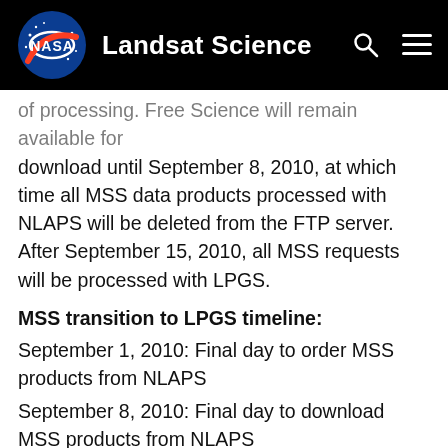NASA — Landsat Science
of processing. Free Science will remain available for download until September 8, 2010, at which time all MSS data products processed with NLAPS will be deleted from the FTP server. After September 15, 2010, all MSS requests will be processed with LPGS.
MSS transition to LPGS timeline:
September 1, 2010: Final day to order MSS products from NLAPS
September 8, 2010: Final day to download MSS products from NLAPS
September 15, 2010: First day to order MSS data products from LPGS (NLAPS processing will be no